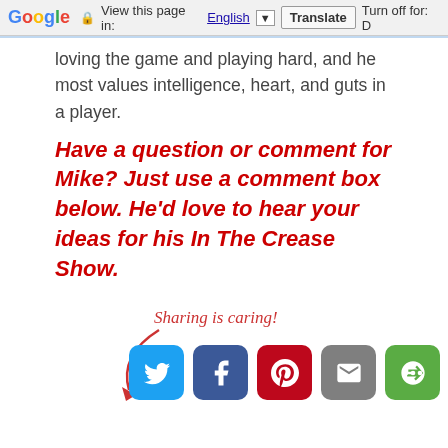Google — View this page in: English [dropdown] Translate | Turn off for: D
loving the game and playing hard, and he most values intelligence, heart, and guts in a player.
Have a question or comment for Mike?  Just use a comment box below.  He'd love to hear your ideas for his In The Crease Show.
[Figure (infographic): Sharing is caring! text with arrow and social media buttons: Twitter, Facebook, Pinterest, Email, More]